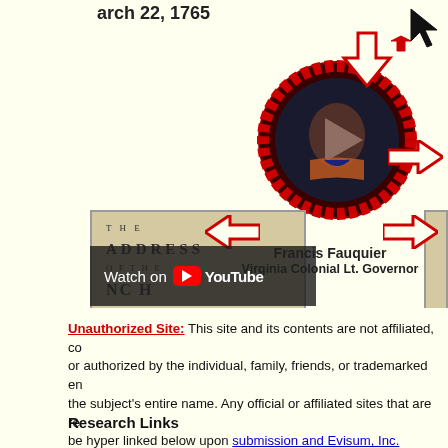[Figure (screenshot): Screenshot of a webpage showing a YouTube video embed with Francis Fauquier Virginia Colonial Lt. Governor portrait medallion, navigation arrows, an Address book image with Watch on YouTube overlay, date March 22 1765, and cursor arrow icons]
Unauthorized Site: This site and its contents are not affiliated, co or authorized by the individual, family, friends, or trademarked en the subject's entire name. Any official or affiliated sites that are re be hyper linked below upon submission and Evisum, Inc. review.
Research Links